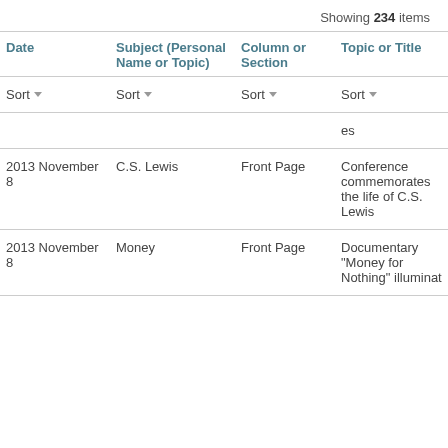Showing 234 items
| Date | Subject (Personal Name or Topic) | Column or Section | Topic or Title |
| --- | --- | --- | --- |
| Sort | Sort | Sort | Sort |
|  |  |  | es |
| 2013 November 8 | C.S. Lewis | Front Page | Conference commemorates the life of C.S. Lewis |
| 2013 November 8 | Money | Front Page | Documentary "Money for Nothing" illuminat... |